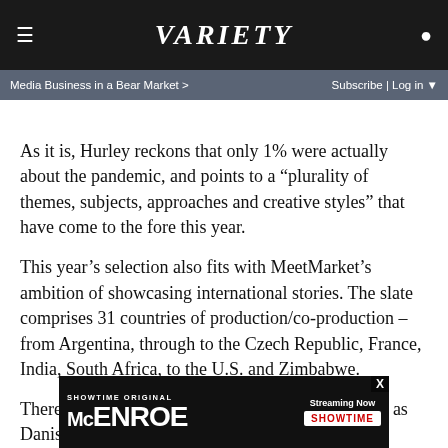VARIETY
Media Business in a Bear Market > | Subscribe | Log in
As it is, Hurley reckons that only 1% were actually about the pandemic, and points to a “plurality of themes, subjects, approaches and creative styles” that have come to the fore this year.
This year’s selection also fits with MeetMarket’s ambition of showcasing international stories. The slate comprises 31 countries of production/co-production – from Argentina, through to the Czech Republic, France, India, South Africa, to the U.S. and Zimbabwe.
There’s potentially headline grabbing projects such as Danish director Niels Borchert Holm’s focus on corruption in the glob… soccer industry “A Game of Secrets,” a Werner Herzog biopi…
[Figure (other): McEnroe Showtime Original streaming advertisement banner]